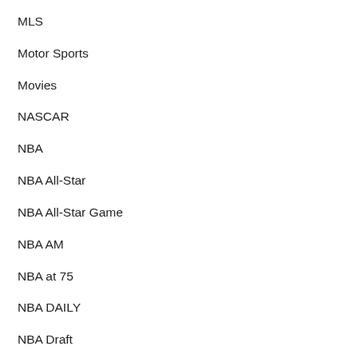MLS
Motor Sports
Movies
NASCAR
NBA
NBA All-Star
NBA All-Star Game
NBA AM
NBA at 75
NBA DAILY
NBA Draft
NBA Draft Scouting Reports